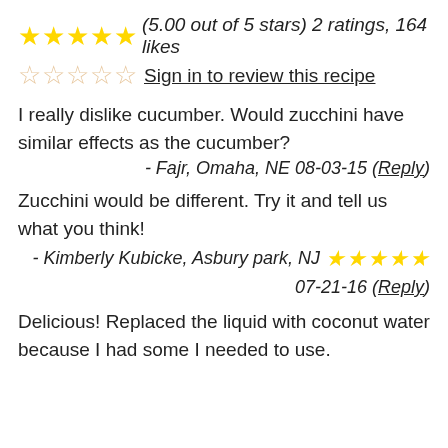★★★★★ (5.00 out of 5 stars) 2 ratings, 164 likes
☆☆☆☆☆ Sign in to review this recipe
I really dislike cucumber. Would zucchini have similar effects as the cucumber?
- Fajr, Omaha, NE 08-03-15 (Reply)
Zucchini would be different. Try it and tell us what you think!
- Kimberly Kubicke, Asbury park, NJ ★★★★★ 07-21-16 (Reply)
Delicious! Replaced the liquid with coconut water because I had some I needed to use.